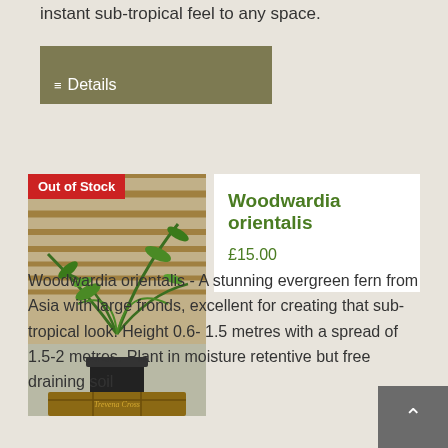instant sub-tropical feel to any space.
[Figure (other): Olive/khaki colored button with list icon and text 'Details']
[Figure (photo): Photo of Woodwardia orientalis fern plant in a black pot on a wooden display at Trevena Cross nursery, with Out of Stock badge overlay]
Woodwardia orientalis
£15.00
Woodwardia orientalis - A stunning evergreen fern from Asia with large fronds, excellent for creating that sub-tropical look. Height 0.6- 1.5 metres with a spread of 1.5-2 metres. Plant in moisture retentive but free draining soil